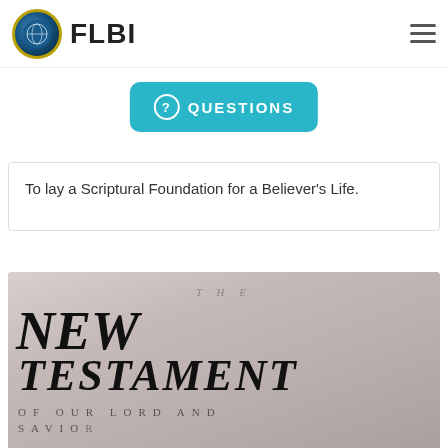FLBI
To lay a Scriptural Foundation for a Believer's Life.
[Figure (photo): Photograph of a Bible open to the title page of The New Testament of Our Lord and Savior, shown in a desaturated, vintage-style photo. Text on page reads: THE / NEW TESTAMENT / OF OUR LORD AND SAVIO[R]]